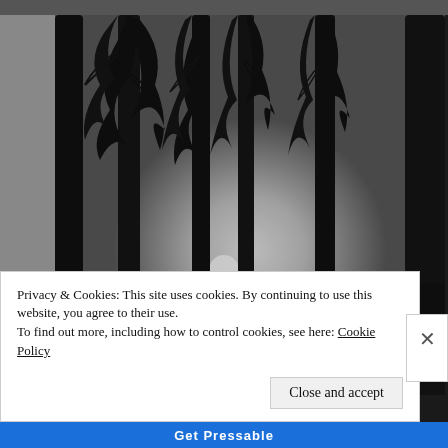[Figure (photo): Black and white photograph of bare winter trees silhouetted against a bright sky, with sunlight visible through the trees in the background.]
Privacy & Cookies: This site uses cookies. By continuing to use this website, you agree to their use.
To find out more, including how to control cookies, see here: Cookie Policy
Close and accept
Get Pressable